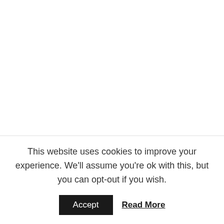N: And I understand also that you're currently working on a book that's to be published possibly and
This website uses cookies to improve your experience. We'll assume you're ok with this, but you can opt-out if you wish.
Accept   Read More